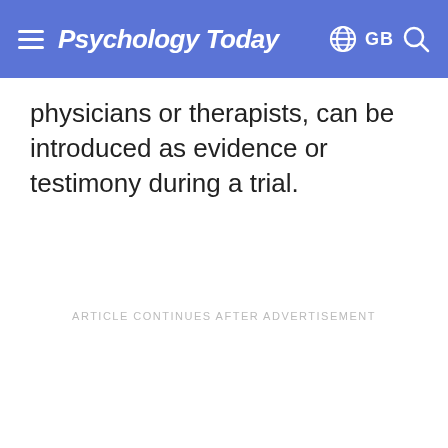Psychology Today
physicians or therapists, can be introduced as evidence or testimony during a trial.
ARTICLE CONTINUES AFTER ADVERTISEMENT